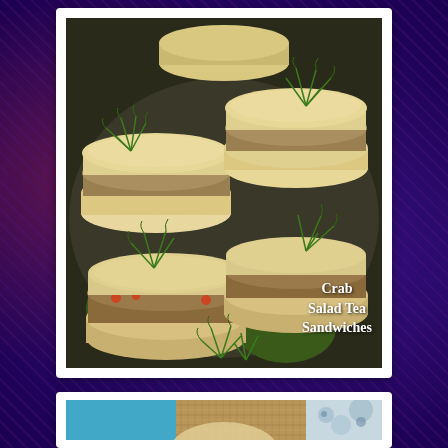[Figure (photo): Photo of round crab salad tea sandwiches on white bread garnished with fresh dill, with text overlay reading 'Crab Salad Tea Sandwiches']
[Figure (photo): Partial photo of another food item, partially visible at bottom of page with blue and burlap-textured background]